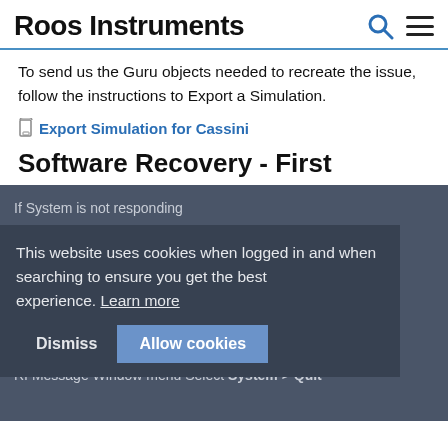Roos Instruments
To send us the Guru objects needed to recreate the issue, follow the instructions to Export a Simulation.
Export Simulation for Cassini
Software Recovery - First
If System is not responding
Press and hold CTRL Key and Press the Break Key
RI Message Window Select Stop Error dialog box
Click Continue on the Error dialog box
RI Message Window menu Select System > Reset
Attempt application again. If the issue persists, send the vRtError.log file to Support@Roos.com
RI Message Window menu Select System > Quit
This website uses cookies when logged in and when searching to ensure you get the best experience. Learn more
Dismiss  Allow cookies